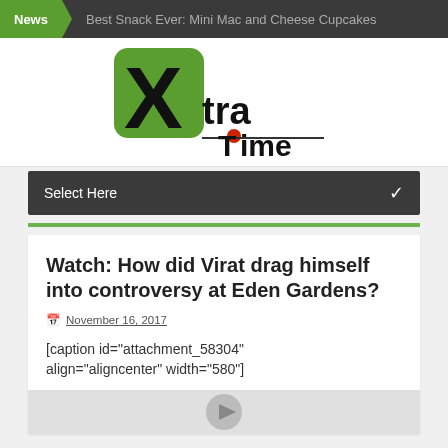News | Best Snack Ever: Mini Mac and Cheese Cupcakes
[Figure (logo): XtraTime sports news website logo — large black X on green rounded square background, with 'tra' in black and red dot 'Time' text below]
Select Here
Watch: How did Virat drag himself into controversy at Eden Gardens?
November 16, 2017
[caption id="attachment_58304" align="aligncenter" width="580"]